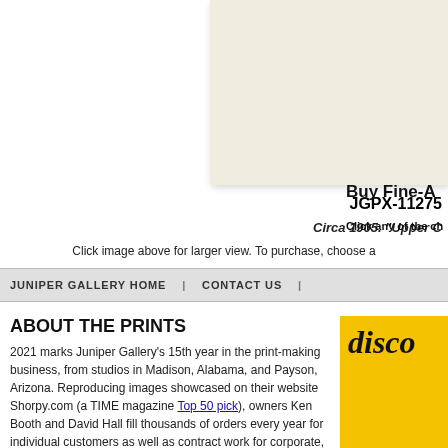[Figure (photo): Cropped product image area with off-white/cream background, appears to be a historical photograph thumbnail]
JGPX-11275
Circa 1905. "Upper C
Click image above for larger view. To purchase, choose a
JUNIPER GALLERY HOME | CONTACT US |
ABOUT THE PRINTS
2021 marks Juniper Gallery's 15th year in the print-making business, from studios in Madison, Alabama, and Payson, Arizona. Reproducing images showcased on their website Shorpy.com (a TIME magazine Top 50 pick), owners Ken Booth and David Hall fill thousands of orders every year for individual customers as well as contract work for corporate, institutional and
[Figure (other): Yellow panel with italic script text reading 'disco' (partially visible), advertisement for Juniper Gallery prints]
Buy Fine-A
Click any of the ch